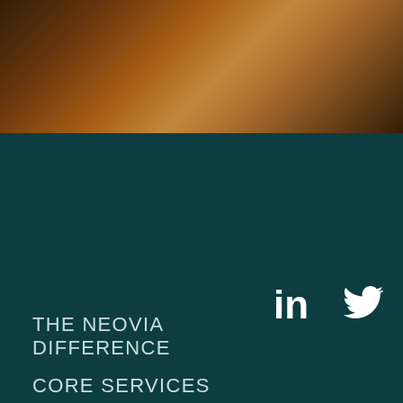[Figure (photo): A blurred warm-toned atmospheric photo with amber and dark brown tones, appears to show an outdoor scene with light filtering through]
THE NEOVIA DIFFERENCE
CORE SERVICES
NEWSROOM
COMPANY OVERVIEW
CAREERS